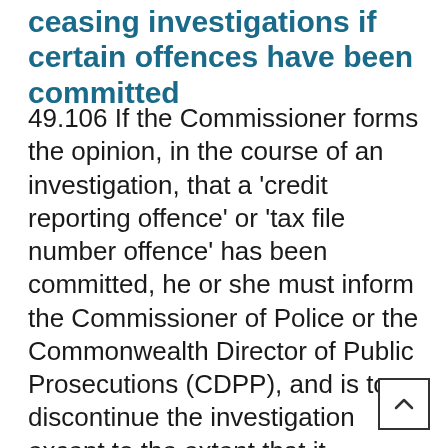ceasing investigations if certain offences have been committed
49.106 If the Commissioner forms the opinion, in the course of an investigation, that a 'credit reporting offence' or 'tax file number offence' has been committed, he or she must inform the Commissioner of Police or the Commonwealth Director of Public Prosecutions (CDPP), and is to discontinue the investigation except to the extent that it concerns matters unconnected with the alleged offence. The